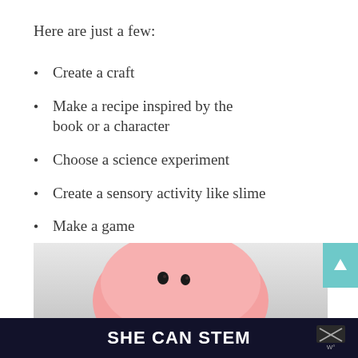Here are just a few:
Create a craft
Make a recipe inspired by the book or a character
Choose a science experiment
Create a sensory activity like slime
Make a game
[Figure (photo): A pink blob-shaped sensory toy or slime ball with two small eyes drawn on it, on a light gray background]
SHE CAN STEM